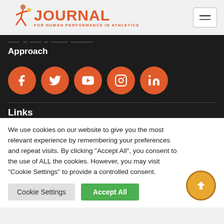Journal for Human Performance in Athletics
... through a Approach
[Figure (infographic): Five orange circular social media icons: Facebook, Twitter, YouTube, Instagram, LinkedIn]
Links
We use cookies on our website to give you the most relevant experience by remembering your preferences and repeat visits. By clicking "Accept All", you consent to the use of ALL the cookies. However, you may visit "Cookie Settings" to provide a controlled consent.